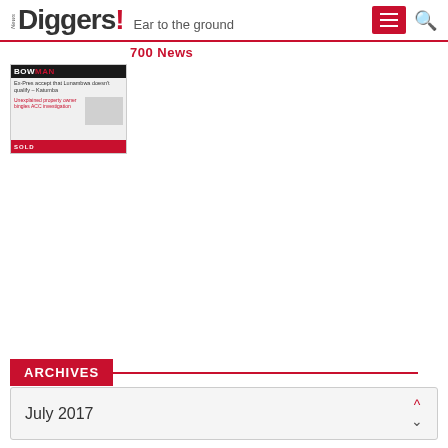News Diggers! Ear to the ground
700 News
[Figure (screenshot): Thumbnail of a newspaper front page with headline BOWMAN and red/black sections showing news stories including 'Ex-Pres accept that Lunambwa doesn't qualify – Katumba' and 'Unexplained property owner bingles ACC investigation']
ARCHIVES
July 2017